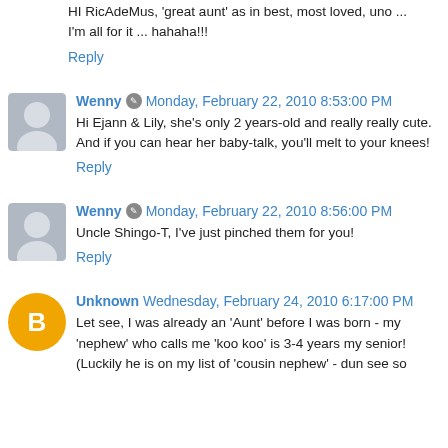HI RicAdeMus, 'great aunt' as in best, most loved, uno ... I'm all for it ... hahaha!!!
Reply
Wenny  Monday, February 22, 2010 8:53:00 PM
Hi Ejann & Lily, she's only 2 years-old and really really cute. And if you can hear her baby-talk, you'll melt to your knees!
Reply
Wenny  Monday, February 22, 2010 8:56:00 PM
Uncle Shingo-T, I've just pinched them for you!
Reply
Unknown  Wednesday, February 24, 2010 6:17:00 PM
Let see, I was already an 'Aunt' before I was born - my 'nephew' who calls me 'koo koo' is 3-4 years my senior! (Luckily he is on my list of 'cousin nephew' - dun see so